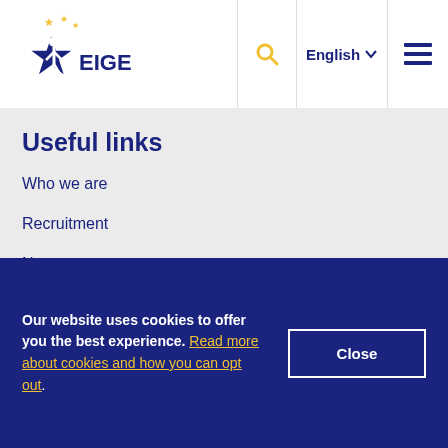[Figure (logo): EIGE (European Institute for Gender Equality) logo — blue star with figure and yellow stars]
Useful links
Who we are
Recruitment
News
Events
Subscribe to our newsletter
Get the latest EIGE's updates on a personalised basis. See all past
Our website uses cookies to offer you the best experience. Read more about cookies and how you can opt out.